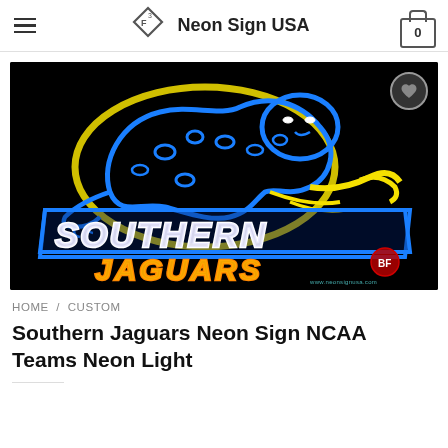Neon Sign USA
[Figure (photo): Neon sign product image showing Southern Jaguars NCAA neon light on black background. Blue neon jaguar mascot leaping with yellow outline, white neon text 'SOUTHERN' on blue banner, orange neon text 'JAGUARS' below.]
HOME / CUSTOM
Southern Jaguars Neon Sign NCAA Teams Neon Light